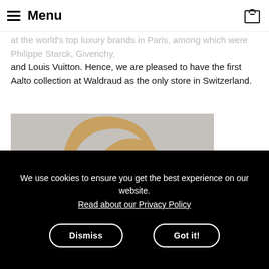Menu
at the world's top luxury brands in Paris, among which were Philippe Starck, Givenchy, and Louis Vuitton. Hence, we are pleased to have the first Aalto collection at Waldraud as the only store in Switzerland.
[Figure (photo): Portrait of a young woman with long blonde hair wearing a black turtleneck sweater with a floral collar, photographed against a grey background.]
We use cookies to ensure you get the best experience on our website.
Read about our Privacy Policy
Dismiss
Got it!